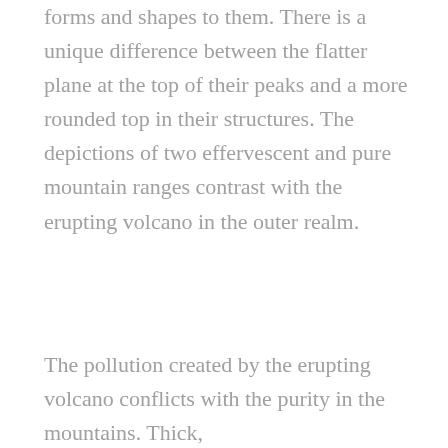forms and shapes to them. There is a unique difference between the flatter plane at the top of their peaks and a more rounded top in their structures. The depictions of two effervescent and pure mountain ranges contrast with the erupting volcano in the outer realm.
The pollution created by the erupting volcano conflicts with the purity in the mountains. Thick,